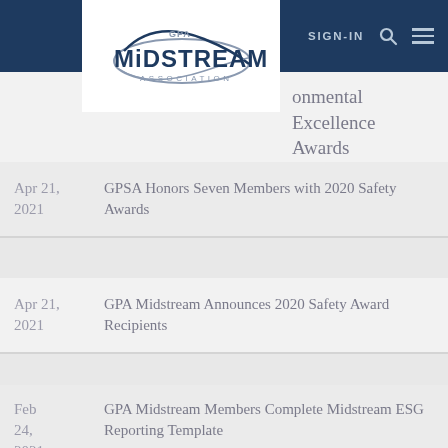[Figure (logo): GPA Midstream Association logo — white box with blue stylized swoosh and text GPA MIDSTREAM ASSOCIATION]
SIGN-IN [search] [menu]
onmental Excellence Awards
Apr 21, 2021 — GPSA Honors Seven Members with 2020 Safety Awards
Apr 21, 2021 — GPA Midstream Announces 2020 Safety Award Recipients
Feb 24, 2021 — GPA Midstream Members Complete Midstream ESG Reporting Template